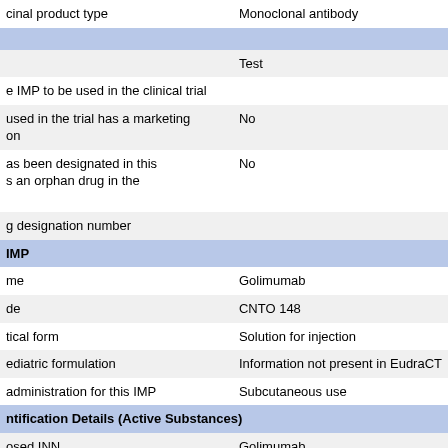| cinal product type | Monoclonal antibody |
|  |  |
|  | Test |
| e IMP to be used in the clinical trial |  |
| used in the trial has a marketing
on | No |
| as been designated in this
s an orphan drug in the
 | No |
| g designation number |  |
| IMP |  |
| me | Golimumab |
| de | CNTO 148 |
| tical form | Solution for injection |
| ediatric formulation | Information not present in EudraCT |
| administration for this IMP | Subcutaneous use |
| ntification Details (Active Substances) |  |
| osed INN | Golimumab |